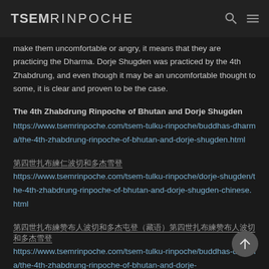TSEM RINPOCHE
make them uncomfortable or angry, it means that they are practicing the Dharma. Dorje Shugden was practiced by the 4th Zhabdrung, and even though it may be an uncomfortable thought to some, it is clear and proven to be the case.
The 4th Zhabdrung Rinpoche of Bhutan and Dorje Shugden
https://www.tsemrinpoche.com/tsem-tulku-rinpoche/buddhas-dharma/the-4th-zhabdrung-rinpoche-of-bhutan-and-dorje-shugden.html
[Chinese characters]
https://www.tsemrinpoche.com/tsem-tulku-rinpoche/dorje-shugden/the-4th-zhabdrung-rinpoche-of-bhutan-and-dorje-shugden-chinese.html
[Chinese characters - longer]
https://www.tsemrinpoche.com/tsem-tulku-rinpoche/buddhas-dharma/the-4th-zhabdrung-rinpoche-of-bhutan-and-dorje-